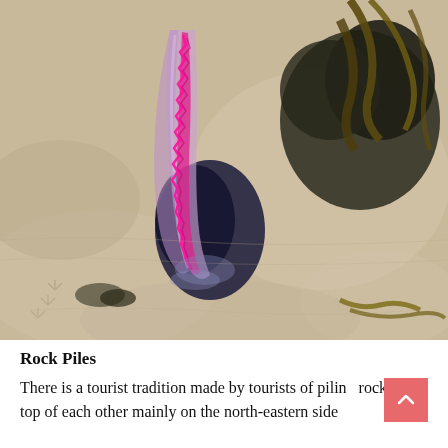[Figure (photo): Close-up photograph of a blue bottle jellyfish (Portuguese man-of-war) washed up on sandy beach. The jellyfish has a translucent purple-blue float with a vivid pink/magenta crest, resting on sand with some seaweed and dark rock visible.]
Rock Piles
There is a tourist tradition made by tourists of piling rocks on top of each other mainly on the north-eastern side